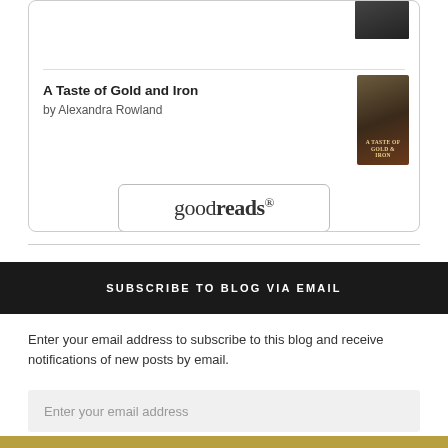[Figure (screenshot): Goodreads widget showing partial book cover at top, then 'A Taste of Gold and Iron' by Alexandra Rowland with book cover, and Goodreads logo button at bottom]
A Taste of Gold and Iron
by Alexandra Rowland
[Figure (logo): Goodreads logo button with rounded border]
SUBSCRIBE TO BLOG VIA EMAIL
Enter your email address to subscribe to this blog and receive notifications of new posts by email.
Enter your email address
Subscribe